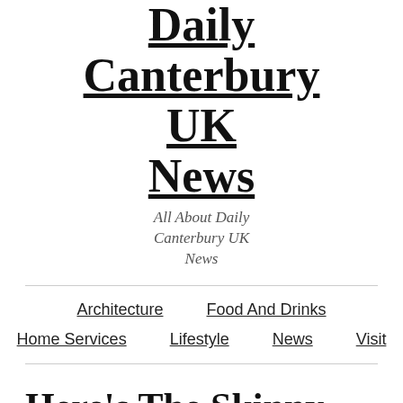Daily Canterbury UK News
All About Daily Canterbury UK News
Architecture | Food And Drinks | Home Services | Lifestyle | News | Visit
Here's The Skinny On Internet Marketing